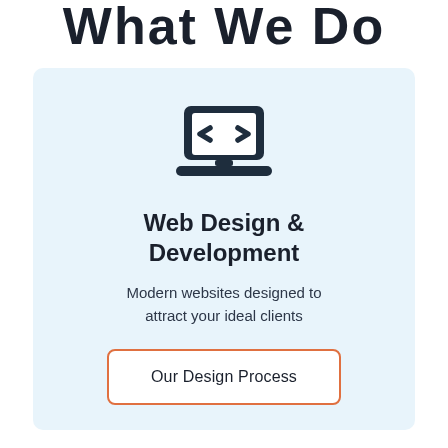What We Do
[Figure (illustration): Laptop computer icon with code brackets on screen, dark navy color, centered on light blue card background]
Web Design & Development
Modern websites designed to attract your ideal clients
Our Design Process